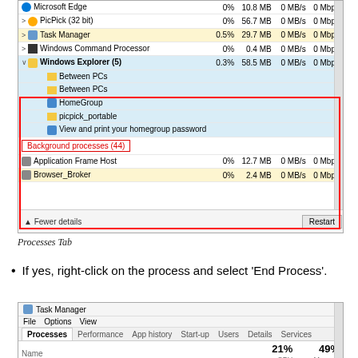[Figure (screenshot): Windows Task Manager Processes tab showing Microsoft Edge, PicPick, Task Manager, Windows Command Processor, and Windows Explorer (5) expanded with sub-items (Between PCs x2, HomeGroup, picpick_portable, View and print your homegroup password) highlighted in blue with a red box. Background processes (44) section header shown with Application Frame Host and Browser_Broker entries. Fewer details button and Restart button at bottom.]
Processes Tab
If yes, right-click on the process and select 'End Process'.
[Figure (screenshot): Windows Task Manager showing File, Options, View menu, tabs (Processes, Performance, App history, Start-up, Users, Details, Services), columns showing 21% CPU and 49% Memory, Name column, and rows for ESET Service (14.3%, 83.8 MB) and Spotify (32 bit) (3.5%, 67.5 MB), highlighted in yellow.]